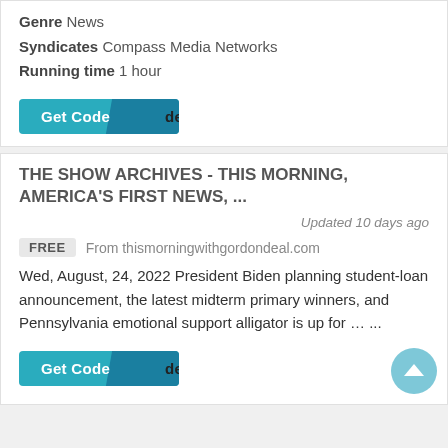Genre News
Syndicates Compass Media Networks
Running time 1 hour
[Figure (screenshot): Get Code button with teal background and dark overlay panel]
THE SHOW ARCHIVES - THIS MORNING, AMERICA'S FIRST NEWS, ...
Updated 10 days ago
FREE  From thismorningwithgordondeal.com
Wed, August, 24, 2022 President Biden planning student-loan announcement, the latest midterm primary winners, and Pennsylvania emotional support alligator is up for … ...
[Figure (screenshot): Get Code button with teal background and dark overlay panel]